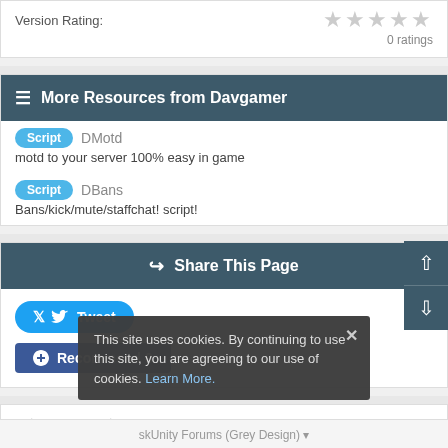Version Rating:
★★★★★
0 ratings
More Resources from Davgamer
Script  DMotd
motd to your server 100% easy in game
Script  DBans
Bans/kick/mute/staffchat! script!
Share This Page
Tweet
Recommend 0
Resources > Scripts
This site uses cookies. By continuing to use this site, you are agreeing to our use of cookies. Learn More.
skUnity Forums (Grey Design)